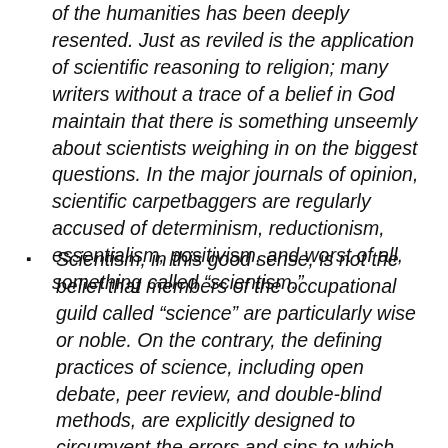of the humanities has been deeply resented. Just as reviled is the application of scientific reasoning to religion; many writers without a trace of a belief in God maintain that there is something unseemly about scientists weighing in on the biggest questions. In the major journals of opinion, scientific carpetbaggers are regularly accused of determinism, reductionism, essentialism, positivism, and worst of all, something called “scientism.”
Scientism, in this good sense, is not the belief that members of the occupational guild called “science” are particularly wise or noble. On the contrary, the defining practices of science, including open debate, peer review, and double-blind methods, are explicitly designed to circumvent the errors and sins to which scientists, being human, are vulnerable. Scientism